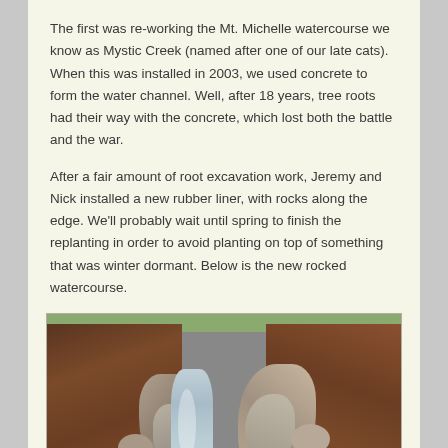The first was re-working the Mt. Michelle watercourse we know as Mystic Creek (named after one of our late cats). When this was installed in 2003, we used concrete to form the water channel. Well, after 18 years, tree roots had their way with the concrete, which lost both the battle and the war.
After a fair amount of root excavation work, Jeremy and Nick installed a new rubber liner, with rocks along the edge. We'll probably wait until spring to finish the replanting in order to avoid planting on top of something that was winter dormant. Below is the new rocked watercourse.
[Figure (photo): Photograph of the new rocked watercourse (Mystic Creek) showing a narrow stream of water flowing between rocks, flanked by brown mulch on both sides, viewed from above at a shallow angle.]